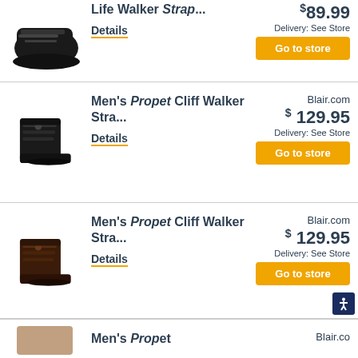[Figure (photo): Black velcro walking shoe (Life Walker Strap) partially visible at top]
Life Walker Strap...
Details
$ 89.99
Delivery: See Store
Go to store
[Figure (photo): Black mid-cut velcro hiking boot (Men's Propet Cliff Walker Stra...)]
Men's Propet Cliff Walker Stra...
Details
Blair.com
$ 129.95
Delivery: See Store
Go to store
[Figure (photo): Dark brown mid-cut velcro hiking boot (Men's Propet Cliff Walker Stra...)]
Men's Propet Cliff Walker Stra...
Details
Blair.com
$ 129.95
Delivery: See Store
Go to store
[Figure (photo): Partial view of fourth product row at bottom — Men's Propet (cut off)]
Men's Propet (partially visible)
Blair.co (partially visible)